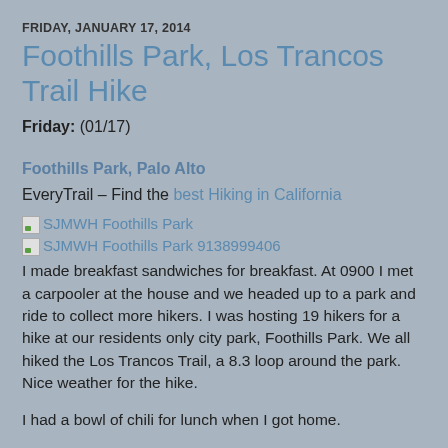FRIDAY, JANUARY 17, 2014
Foothills Park, Los Trancos Trail Hike
Friday: (01/17)
Foothills Park, Palo Alto
EveryTrail – Find the best Hiking in California
[Figure (photo): SJMWH Foothills Park image link]
[Figure (photo): SJMWH Foothills Park 9138999406 image link]
I made breakfast sandwiches for breakfast. At 0900 I met a carpooler at the house and we headed up to a park and ride to collect more hikers. I was hosting 19 hikers for a hike at our residents only city park, Foothills Park. We all hiked the Los Trancos Trail, a 8.3 loop around the park. Nice weather for the hike.
I had a bowl of chili for lunch when I got home.